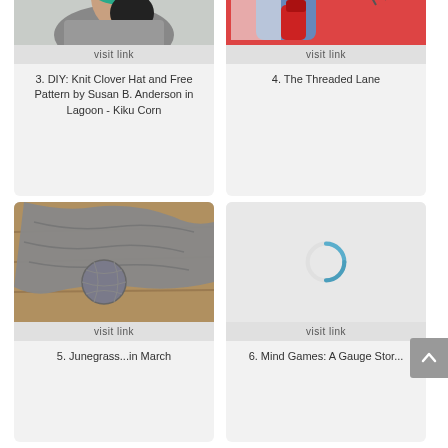[Figure (photo): Woman wearing a teal/green knit hat, looking down, outdoor winter background]
visit link
3. DIY: Knit Clover Hat and Free Pattern by Susan B. Anderson in Lagoon - Kiku Corn
[Figure (photo): Blue and purple knitted fabric/yarn socks with red boots and knitting needles on a colorful background]
visit link
4. The Threaded Lane
[Figure (photo): Gray knitted shawl or fabric with a ball of gray yarn on a wooden surface]
visit link
5. Junegrass...in March
[Figure (other): Loading spinner (blue partial circle arc) on light gray background]
visit link
6. Mind Games: A Gauge Stor...